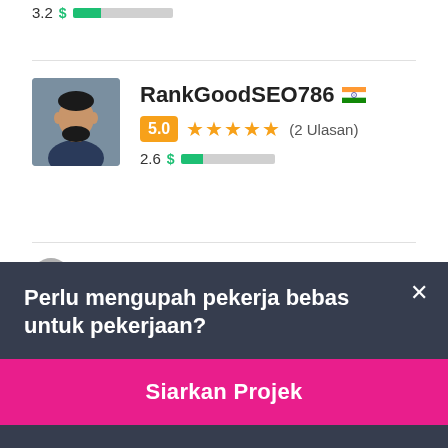3.2 $ ██░░░░░░░░
RankGoodSEO786 🇮🇳
5.0 ★★★★★ (2 Ulasan)
2.6 $ ██░░░░░░░░
Perlu mengupah pekerja bebas untuk pekerjaan?
Siarkan Projek